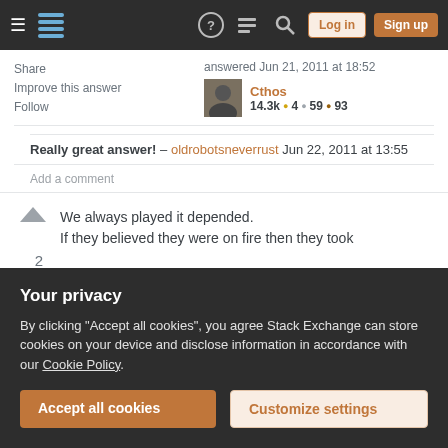Stack Exchange navigation bar with hamburger menu, logo, help, chat, search icons, Log in and Sign up buttons
Share  Improve this answer  Follow
answered Jun 21, 2011 at 18:52
Cthos
14.3k ● 4 ● 59 ● 93
Really great answer! – oldrobotsneverrust Jun 22, 2011 at 13:55
Add a comment
We always played it depended.
If they believed they were on fire then they took
Your privacy
By clicking "Accept all cookies", you agree Stack Exchange can store cookies on your device and disclose information in accordance with our Cookie Policy.
Accept all cookies
Customize settings
believes that the stone bridge is real then he will perceive